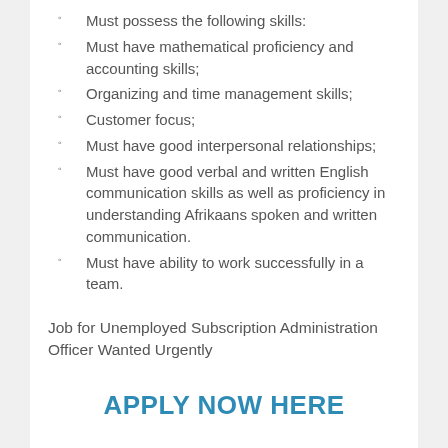Must possess the following skills:
Must have mathematical proficiency and accounting skills;
Organizing and time management skills;
Customer focus;
Must have good interpersonal relationships;
Must have good verbal and written English communication skills as well as proficiency in understanding Afrikaans spoken and written communication.
Must have ability to work successfully in a team.
Job for Unemployed Subscription Administration Officer Wanted Urgently
APPLY NOW HERE